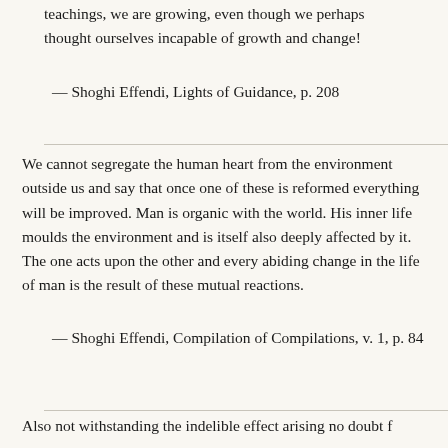teachings, we are growing, even though we perhaps thought ourselves incapable of growth and change!
— Shoghi Effendi, Lights of Guidance, p. 208
We cannot segregate the human heart from the environment outside us and say that once one of these is reformed everything will be improved. Man is organic with the world. His inner life moulds the environment and is itself also deeply affected by it. The one acts upon the other and every abiding change in the life of man is the result of these mutual reactions.
— Shoghi Effendi, Compilation of Compilations, v. 1, p. 84
Also not withstanding the indelible effect arising no doubt f...